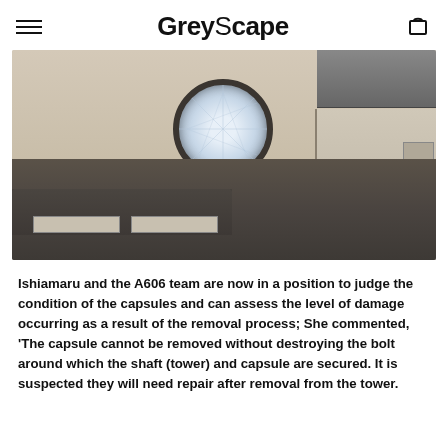GreyScape
[Figure (photo): Interior of a Nakagin Capsule Tower capsule unit showing a circular porthole window with view of city building, a bed platform with dark cushion, built-in control panel on the right wall with various buttons and controls, drawer storage under the bed, and upper storage compartments. The room has beige/cream walls and a dark grey floor. Monochrome/desaturated photography.]
Ishiamaru and the A606 team are now in a position to judge the condition of the capsules and can assess the level of damage occurring as a result of the removal process; She commented, 'The capsule cannot be removed without destroying the bolt around which the shaft (tower) and capsule are secured. It is suspected they will need repair after removal from the tower.